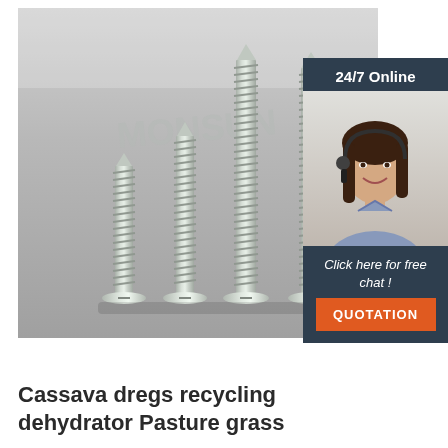[Figure (photo): Four silver/chrome flat-head wood screws of increasing height standing upright on a metallic surface, with MONSUN watermark text. Overlaid with a sidebar showing a customer service agent woman wearing a headset, '24/7 Online' header, 'Click here for free chat!' text, and an orange QUOTATION button on dark navy background.]
Cassava dregs recycling dehydrator Pasture grass